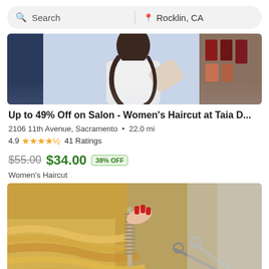Search | Rocklin, CA
[Figure (photo): Partial photo of a hair salon scene showing a woman in a white shirt getting her hair done, with product shelves visible in the background]
Up to 49% Off on Salon - Women's Haircut at Taia D...
2106 11th Avenue, Sacramento  •  22.0 mi
4.9  ★★★★½  41 Ratings
$55.00  $34.00  38% OFF
Women's Haircut
[Figure (photo): Close-up photo of hairstylist with red nail polish using comb and scissors to cut blonde hair]